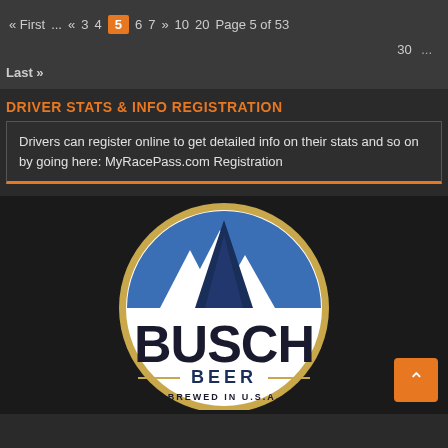« First ... « 3 4 5 6 7 » 10 20  Page 5 of 53
30 ...
Last »
DRIVER STATS & INFO REGISTRATION
Drivers can register online to get detailed info on their stats and so on by going here: MyRacePass.com Registration
[Figure (logo): Busch Beer logo with mountain background, circular design with blue mountains, white circle, 'BUSCH' in large dark letters, '— BEER —' below, 'BREWED IN U.S.A.' at bottom, gold/dark color scheme]